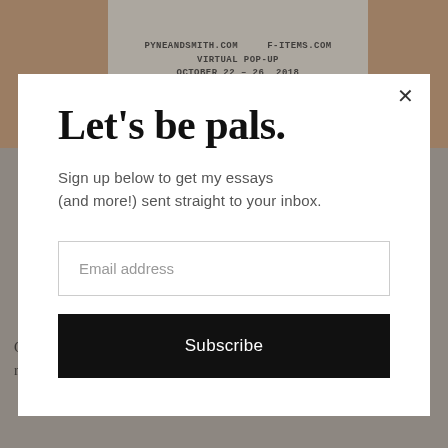[Figure (photo): Background photo showing arms holding a card with text: PYNEANDSMITH.COM, F-ITEMS.COM, VIRTUAL POP-UP, OCTOBER 22-26, 2018, DISCOUNT CODE:, ERIN10]
Let's be pals.
Sign up below to get my essays (and more!) sent straight to your inbox.
Email address
Subscribe
One of the gifts of slower, small batch fashion is a renewed advocacy for both consumers and makers. It's a